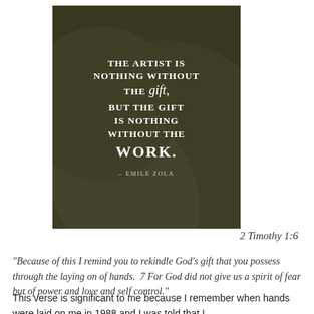[Figure (illustration): Dark olive/brown square image with decorative circle pattern in background. Large white text quote reads: 'THE ARTIST IS NOTHING WITHOUT THE gift, BUT THE GIFT IS NOTHING WITHOUT THE WORK.' attributed to Emile Zola.]
2 Timothy 1:6
"Because of this I remind you to rekindle God’s gift that you possess through the laying on of hands.  7 For God did not give us a spirit of fear but of power and love and self control."
This verse is significant to me because I remember when hands were laid on me in 1988 and I was told that I